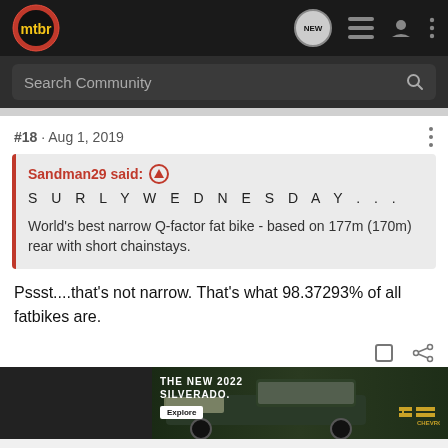mtbr — Search Community (navigation bar)
#18 · Aug 1, 2019
Sandman29 said: ↑
S U R L Y W E D N E S D A Y . . .

World's best narrow Q-factor fat bike - based on 177m (170m) rear with short chainstays.
Pssst....that's not narrow. That's what 98.37293% of all fatbikes are.
[Figure (photo): Chevrolet Silverado 2022 advertisement banner showing truck in field with 'THE NEW 2022 SILVERADO.' text and Explore button]